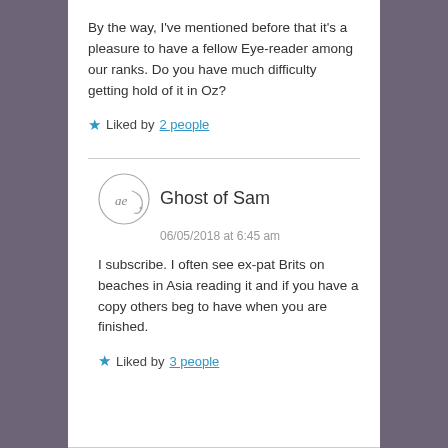By the way, I've mentioned before that it's a pleasure to have a fellow Eye-reader among our ranks. Do you have much difficulty getting hold of it in Oz?
★ Liked by 2 people
Ghost of Sam
06/05/2018 at 6:45 am
I subscribe. I often see ex-pat Brits on beaches in Asia reading it and if you have a copy others beg to have when you are finished.
★ Liked by 3 people